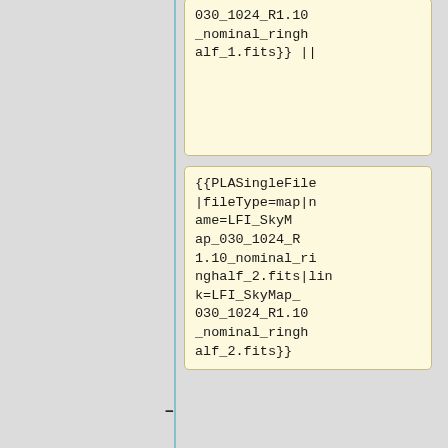030_1024_R1.10_nominal_ringhalf_1.fits}} ||
{{PLASingleFile|fileType=map|name=LFI_SkyMap_030_1024_R1.10_nominal_ringhalf_2.fits|link=LFI_SkyMap_030_1024_R1.10_nominal_ringhalf_2.fits}}
|-
| '''44GHz''' || {{PLASingleFile|fileType=map|name=LFI_SkyMap_044_1024_R1.10_nominal_ringhalf_1.fits||